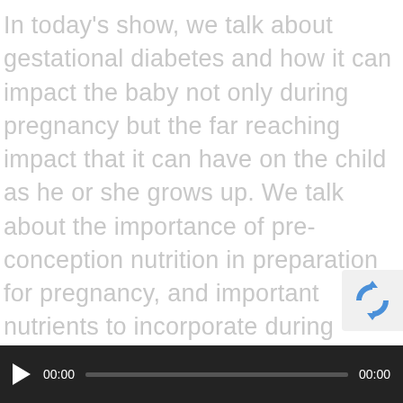In today's show, we talk about gestational diabetes and how it can impact the baby not only during pregnancy but the far reaching impact that it can have on the child as he or she grows up. We talk about the importance of pre-conception nutrition in preparation for pregnancy, and important nutrients to incorporate during pregnancy. We also talk about why it is important for all women to be mindful of our sugar consumption, and what we can eat to stabilize our blood sugar levels throughout the day.
[Figure (other): reCAPTCHA logo badge in bottom-right corner]
[Figure (other): Audio/video media player bar at bottom: play button, time 00:00, progress bar, end time 00:00]